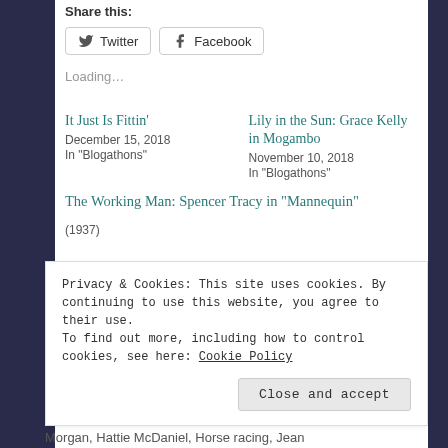Share this:
Twitter  Facebook
Loading...
It Just Is Fittin'
December 15, 2018
In "Blogathons"
Lily in the Sun: Grace Kelly in Mogambo
November 10, 2018
In "Blogathons"
The Working Man: Spencer Tracy in "Mannequin"
(1937)
Privacy & Cookies: This site uses cookies. By continuing to use this website, you agree to their use.
To find out more, including how to control cookies, see here: Cookie Policy
Close and accept
Morgan, Hattie McDaniel, Horse racing, Jean